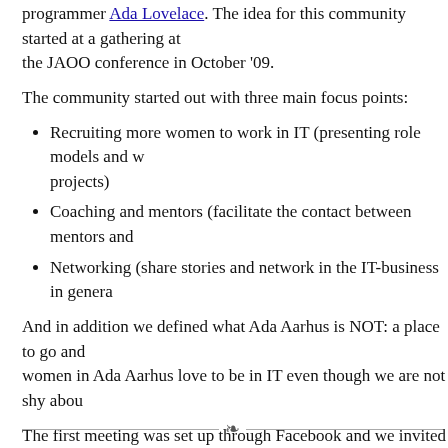programmer Ada Lovelace. The idea for this community started at a gathering at the JAOO conference in October '09.
The community started out with three main focus points:
Recruiting more women to work in IT (presenting role models and w... projects)
Coaching and mentors (facilitate the contact between mentors and...
Networking (share stories and network in the IT-business in genera...
And in addition we defined what Ada Aarhus is NOT: a place to go and ... women in Ada Aarhus love to be in IT even though we are not shy abou...
The first meeting was set up through Facebook and we invited all our fe... so on and we got the local union to invite their female members… We v... decided to meet every two months and after a couple of meetings we e... with more than 50 members on LinkedIn and almost 50 members on Fa...
Now we are on Facebook and LinkedIn and we are working on a netwo... that we can network online as well as offline. Any woman living in the A... welcome to join us on LinkedIn or Facebook.
Tags: Aarhus Area, Ada Aarhus, community, Networking, Women in IT